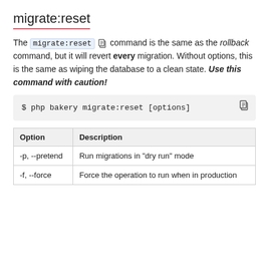migrate:reset
The migrate:reset command is the same as the rollback command, but it will revert every migration. Without options, this is the same as wiping the database to a clean state. Use this command with caution!
$ php bakery migrate:reset [options]
| Option | Description |
| --- | --- |
| -p, --pretend | Run migrations in "dry run" mode |
| -f, --force | Force the operation to run when in production |